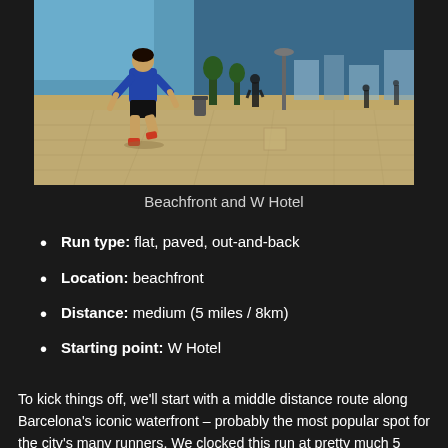[Figure (photo): A runner in a blue shirt and black shorts jogging along a beachfront promenade. Background shows water on the left, paved walkway, and other pedestrians in the distance.]
Beachfront and W Hotel
Run type: flat, paved, out-and-back
Location: beachfront
Distance: medium (5 miles / 8km)
Starting point: W Hotel
To kick things off, we'll start with a middle distance route along Barcelona's iconic waterfront – probably the most popular spot for the city's many runners. We clocked this run at pretty much 5 miles (or just over 8km) dead and the route is almost completely flat so this is a great run for people wanting to keep their mileage ticking over midweek. In addition,